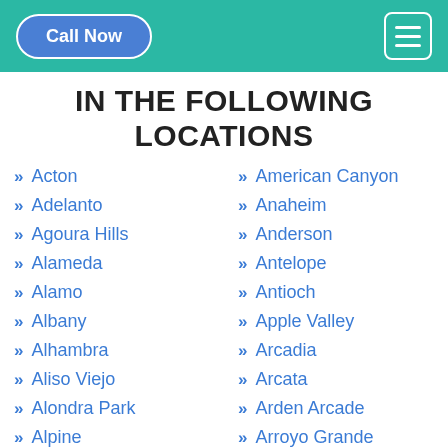Call Now
IN THE FOLLOWING LOCATIONS
Acton
Adelanto
Agoura Hills
Alameda
Alamo
Albany
Alhambra
Aliso Viejo
Alondra Park
Alpine
American Canyon
Anaheim
Anderson
Antelope
Antioch
Apple Valley
Arcadia
Arcata
Arden Arcade
Arroyo Grande